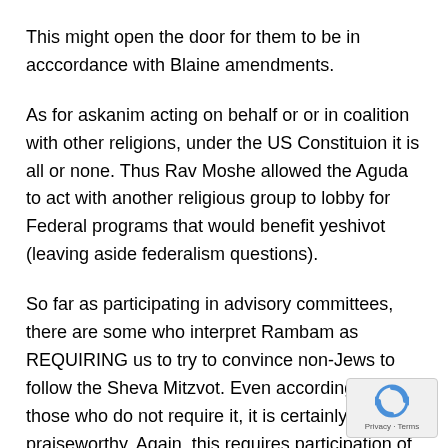This might open the door for them to be in acccordance with Blaine amendments.
As for askanim acting on behalf or or in coalition with other religions, under the US Constituion it is all or none. Thus Rav Moshe allowed the Aguda to act with another religious group to lobby for Federal programs that would benefit yeshivot (leaving aside federalism questions).
So far as participating in advisory committees, there are some who interpret Rambam as REQUIRING us to try to convince non-Jews to follow the Sheva Mitzvot. Even according to those who do not require it, it is certainly praiseworthy. Again, this requires participation of other groups but there is no reason why the Orthodox representatives cannot disagree with th